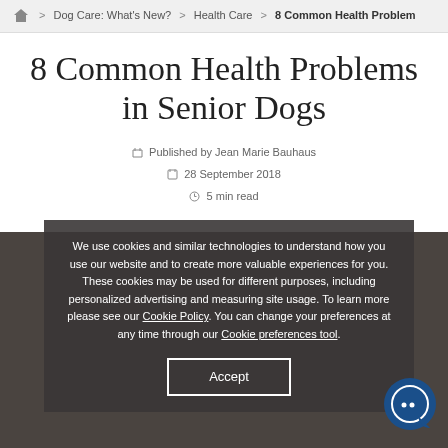🏠 > Dog Care: What's New? > Health Care > 8 Common Health Problem
8 Common Health Problems in Senior Dogs
Published by Jean Marie Bauhaus
28 September 2018
5 min read
We use cookies and similar technologies to understand how you use our website and to create more valuable experiences for you. These cookies may be used for different purposes, including personalized advertising and measuring site usage. To learn more please see our Cookie Policy. You can change your preferences at any time through our Cookie preferences tool.
Accept